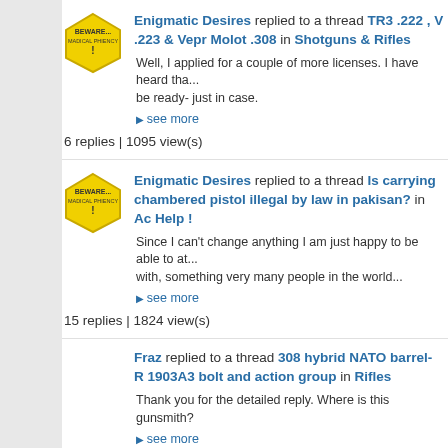Enigmatic Desires replied to a thread TR3 .222 , V .223 & Vepr Molot .308 in Shotguns & Rifles
Well, I applied for a couple of more licenses. I have heard tha... be ready- just in case.
see more
6 replies | 1095 view(s)
Enigmatic Desires replied to a thread Is carrying chambered pistol illegal by law in pakisan? in Ac Help !
Since I can't change anything I am just happy to be able to at... with, something very many people in the world...
see more
15 replies | 1824 view(s)
Fraz replied to a thread 308 hybrid NATO barrel- R 1903A3 bolt and action group in Rifles
Thank you for the detailed reply. Where is this gunsmith?
see more
6 replies | 272 view(s)